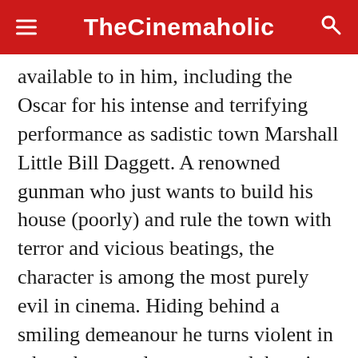TheCinemaholic
available to in him, including the Oscar for his intense and terrifying performance as sadistic town Marshall Little Bill Daggett. A renowned gunman who just wants to build his house (poorly) and rule the town with terror and vicious beatings, the character is among the most purely evil in cinema. Hiding behind a smiling demeanour he turns violent in a heartbeat, and once started there is no stopping him. Watch the scene where
he whips a man with a bull whip, leans in over
[Figure (other): ULTA Beauty advertisement banner showing cosmetic imagery (lips, makeup brush, eyes) with SHOP NOW call to action]
lover, about having to get mean. Frightening.